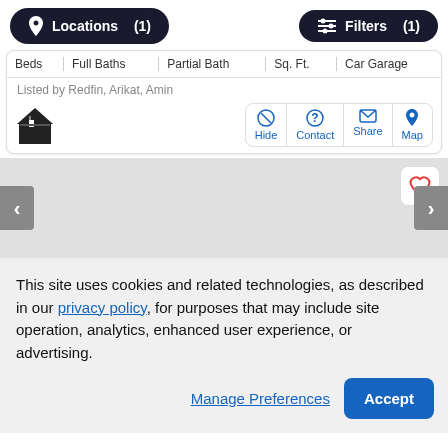[Figure (screenshot): Top navigation bar with Locations (1) and Filters (1) buttons on dark pill-shaped backgrounds]
| Beds | Full Baths | Partial Bath | Sq. Ft. | Car Garage |
| --- | --- | --- | --- | --- |
Listed by Redfin, Arikat, Amin
[Figure (infographic): House icon and action buttons: Hide, Contact, Share, Map in blue]
[Figure (photo): Gray photo placeholder area with heart favorite button, left and right navigation arrows]
This site uses cookies and related technologies, as described in our privacy policy, for purposes that may include site operation, analytics, enhanced user experience, or advertising.
Manage Preferences   Accept